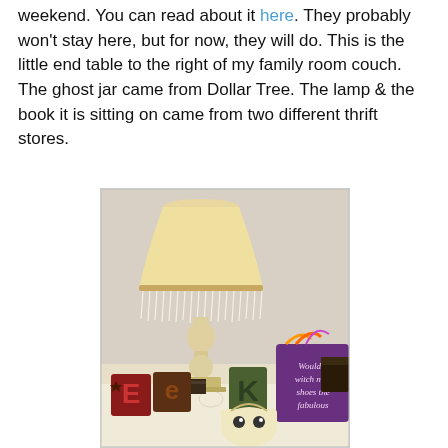weekend. You can read about it here. They probably won't stay here, but for now, they will do. This is the little end table to the right of my family room couch. The ghost jar came from Dollar Tree. The lamp & the book it is sitting on came from two different thrift stores.
[Figure (photo): Photo of a small end table decorated for Halloween. A vintage cream/ivory lamp with a fringed lampshade sits on the table. In front of and around the lamp are Halloween decorations: letter blocks spelling 'EEK', a ghost jar (small cream-colored pail with googly eyes), and a purple sign reading 'Would a witch nice shoes the fabulous'. Items are arranged on a lace tablecloth.]